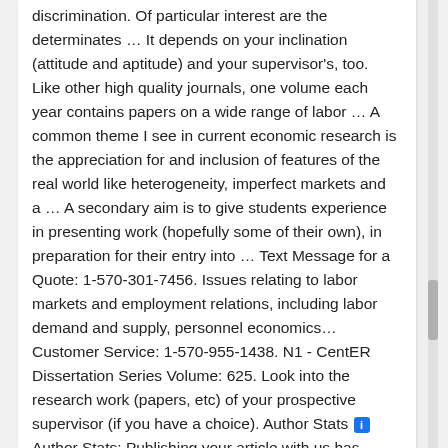discrimination. Of particular interest are the determinates … It depends on your inclination (attitude and aptitude) and your supervisor's, too. Like other high quality journals, one volume each year contains papers on a wide range of labor … A common theme I see in current economic research is the appreciation for and inclusion of features of the real world like heterogeneity, imperfect markets and a … A secondary aim is to give students experience in presenting work (hopefully some of their own), in preparation for their entry into … Text Message for a Quote: 1-570-301-7456. Issues relating to labor markets and employment relations, including labor demand and supply, personnel economics… Customer Service: 1-570-955-1438. N1 - CentER Dissertation Series Volume: 625. Look into the research work (papers, etc) of your prospective supervisor (if you have a choice). Author Stats [i] Author Stats: Publishing your article with us has many benefits, such as having access to a personal dashboard: citation and usage data on your publications in one place. Hilary Hoynes is a Professor of Public Policy